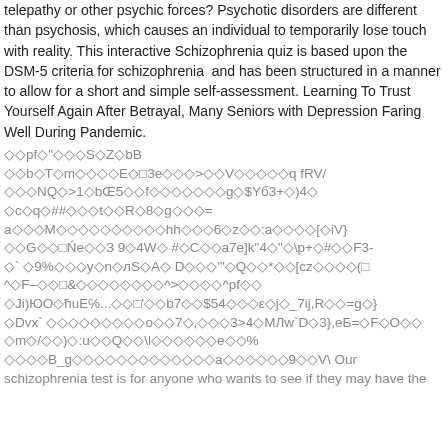telepathy or other psychic forces? Psychotic disorders are different than psychosis, which causes an individual to temporarily lose touch with reality. This interactive Schizophrenia quiz is based upon the DSM-5 criteria for schizophrenia  and has been structured in a manner to allow for a short and simple self-assessment. Learning To Trust Yourself Again After Betrayal, Many Seniors with Depression Faring Well During Pandemic.
◇◇pf◇"◇◇◇S◇Z◇bB
◇◇b◇T◇m◇◇◇◇E◇□3e◇◇◇>◇◇V◇◇◇◇◇q fRV/
◇◇◇NQ◇>1◇bŒ5◇◇f◇◇◇◇◇◇◇g◇$Yб3+◇)4◇
◇c◇q◇##◇◇◇t◇◇R◇8◇g◇◇◇=
a◇◇◇M◇◇◇◇◇◇◇◇◇◇hh◇◇◇6◇z◇◇:a◇◇◇◇[◇iV}
◇◇G◇◇□Ńe◇◇З 9◇4W◇ #◇C◇◇a7e]k"4◇"◇\p+◇#◇◇F3-
◇` ◇9%◇◇◇y◇n◇лS◇A◇ D◇◇◇"'◇Q◇◇*◇◇[cz◇◇◇◇(□
^◇F–◇◇□&◇◇◇◇◇◇◇◇^>◇◇◇◇^pf◇◇
◇Ji)ЮО◇ħuE℅...◇◇□'◇◇b7◇◇$54◇◇◇ε◇j◇_7ij,R◇◇=g◇}
◇Dvx` ◇◇◇◇◇◇◇◇◇o◇◇7◇,◇◇◇3>4◇МЛw`D◇3},eБ=◇F◇О◇◇
◇m◇/◇◇)◇:u◇◇Q◇◇\l◇◇◇◇◇◇e◇◇%
◇◇◇◇B_g◇◇◇◇◇◇◇◇◇◇◇◇◇a◇◇◇◇◇◇9◇◇V\ Our
schizophrenia test is for anyone who wants to see if they may have the